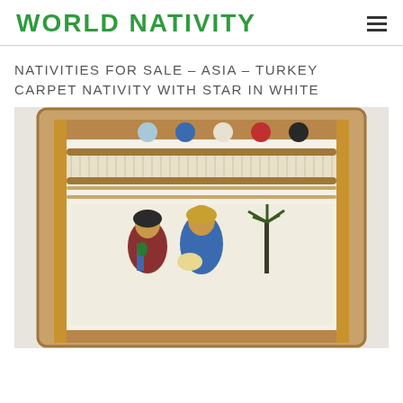WORLD NATIVITY
NATIVITIES FOR SALE – ASIA – TURKEY CARPET NATIVITY WITH STAR IN WHITE
[Figure (photo): A Turkish carpet nativity weaving on a wooden loom frame. The loom has five yarn pom-poms across the top in light blue, blue, white, red, and black. The woven carpet depicts nativity figures (Mary, Joseph, Baby Jesus) in traditional Middle Eastern garb with a palm tree, woven in blue, red, and golden tones on a white/cream background.]